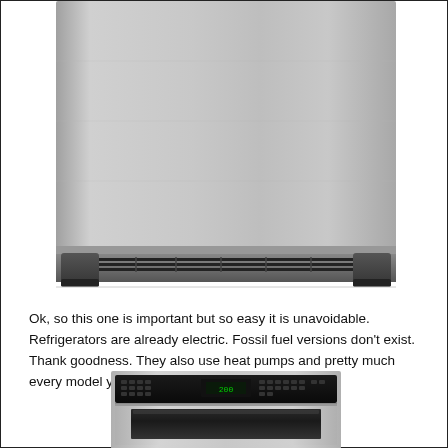[Figure (photo): Close-up bottom portion of a stainless steel refrigerator, showing the lower door panel, toe kick grille area, and floor-level feet/base in dark gray/black.]
Ok, so this one is important but so easy it is unavoidable. Refrigerators are already electric. Fossil fuel versions don't exist. Thank goodness. They also use heat pumps and pretty much every model you get these days is pretty efficient.
[Figure (photo): Stainless steel built-in wall oven with black control panel at the top showing digital display and multiple control buttons, and a glass-front lower oven door visible.]